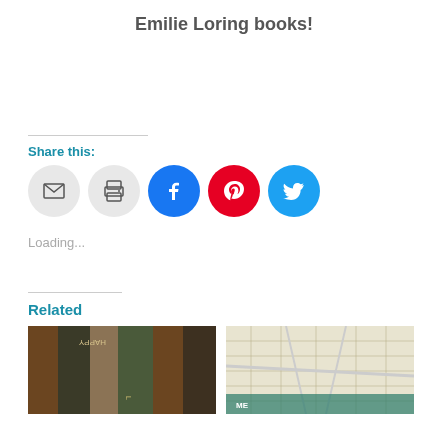Emilie Loring books!
Share this:
[Figure (infographic): Share buttons: email, print, Facebook, Pinterest, Twitter]
Loading...
Related
[Figure (photo): Photo of vintage Emilie Loring books including Happy]
[Figure (photo): Photo of a map]